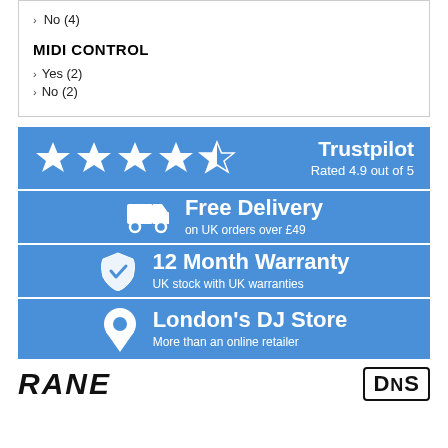No (4)
MIDI CONTROL
Yes (2)
No (2)
[Figure (infographic): Trustpilot banner: 4 full stars and 1 half star, 'Trustpilot Rated 4.9 out of 5']
[Figure (infographic): Free Delivery banner: truck icon, 'Free Delivery on UK orders over £49']
[Figure (infographic): 12 Month Warranty banner: badge/checkmark icon, '12 Month Warranty UK stock with UK warranties']
[Figure (infographic): London's DJ Store banner: location pin icon, 'London's DJ Store More than an online retailer']
[Figure (logo): RANE logo in bold italic text and DNS logo in box]
RANE
[Figure (logo): DNS logo in bordered box]